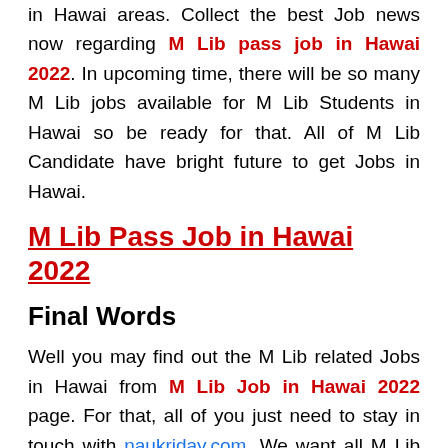in Hawai areas. Collect the best Job news now regarding M Lib pass job in Hawai 2022. In upcoming time, there will be so many M Lib jobs available for M Lib Students in Hawai so be ready for that. All of M Lib Candidate have bright future to get Jobs in Hawai.
M Lib Pass Job in Hawai 2022
Final Words
Well you may find out the M Lib related Jobs in Hawai from M Lib Job in Hawai 2022 page. For that, all of you just need to stay in touch with naukriday.com. We want all M Lib applicants to apply for the best job opportunity in Hawai.
There...